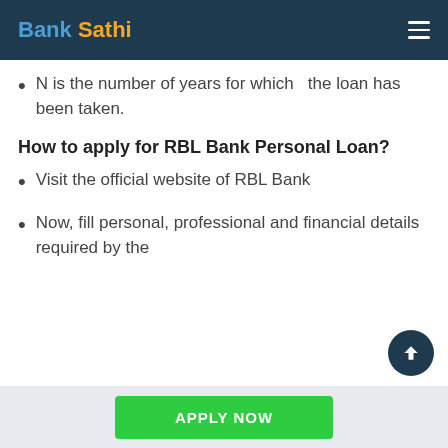Bank Sathi
N is the number of years for which the loan has been taken.
How to apply for RBL Bank Personal Loan?
Visit the official website of RBL Bank
Now, fill personal, professional and financial details required by the